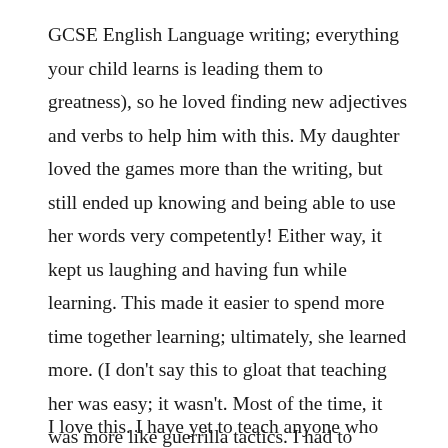GCSE English Language writing; everything your child learns is leading them to greatness), so he loved finding new adjectives and verbs to help him with this. My daughter loved the games more than the writing, but still ended up knowing and being able to use her words very competently! Either way, it kept us laughing and having fun while learning. This made it easier to spend more time together learning; ultimately, she learned more. (I don't say this to gloat that teaching her was easy; it wasn't. Most of the time, it was more like guerrilla tactics. I had to helicopter in, teach her something, then get out before she realised I had taught her something, as she was quite a rebel. (I love you, dear daughter, you know that!)
I love this. I have yet to teach anyone who doesn't get